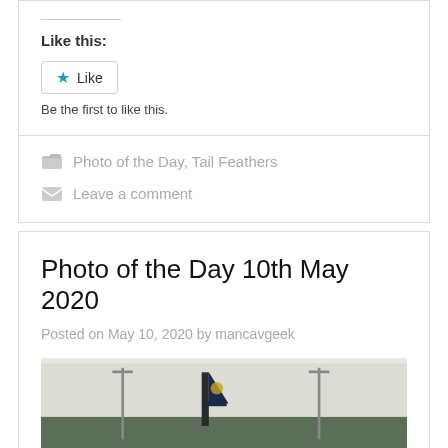Like this:
Like
Be the first to like this.
Photo of the Day, Tail Feathers
Leave a comment
Photo of the Day 10th May 2020
Posted on May 10, 2020 by mancavgeek
[Figure (photo): Airplane tail fin visible above tree line at an airport, overcast sky]